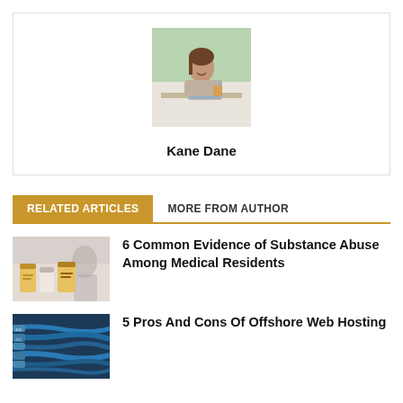[Figure (photo): Photo of woman smiling at a desk with laptop and food]
Kane Dane
RELATED ARTICLES
MORE FROM AUTHOR
[Figure (photo): Blurred photo of prescription medicine bottles with person in background]
6 Common Evidence of Substance Abuse Among Medical Residents
[Figure (photo): Photo of network cables or technology hardware]
5 Pros And Cons Of Offshore Web Hosting